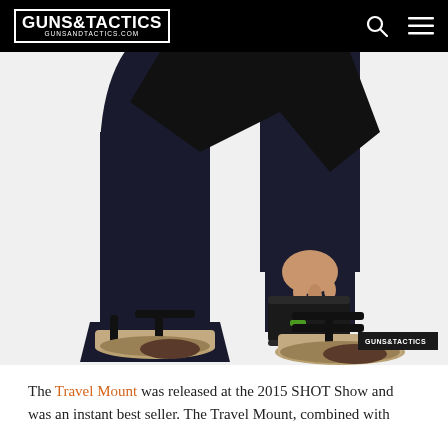GUNS&TACTICS GUNSANDTACTICS.COM
[Figure (photo): A woman in dark jeans and cork wedge sandals reaching down toward her ankle, which has a black holster strapped to it. She is bent over accessing the ankle holster. The Guns & Tactics watermark appears in the lower right of the photo.]
The Travel Mount was released at the 2015 SHOT Show and was an instant best seller. The Travel Mount, combined with